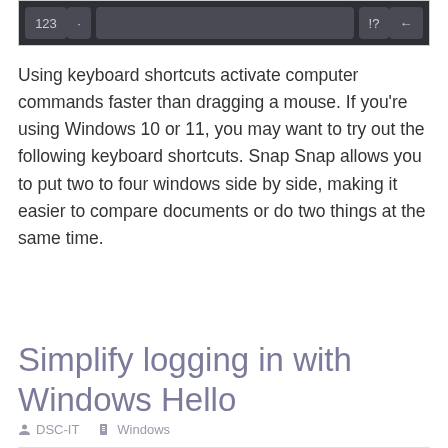[Figure (screenshot): Keyboard row showing keys: 123, dot, space bar, ?!, and enter/return arrow key on dark background]
Using keyboard shortcuts activate computer commands faster than dragging a mouse. If you're using Windows 10 or 11, you may want to try out the following keyboard shortcuts. Snap Snap allows you to put two to four windows side by side, making it easier to compare documents or do two things at the same time.
Read more
Simplify logging in with Windows Hello
DSC-IT   Windows